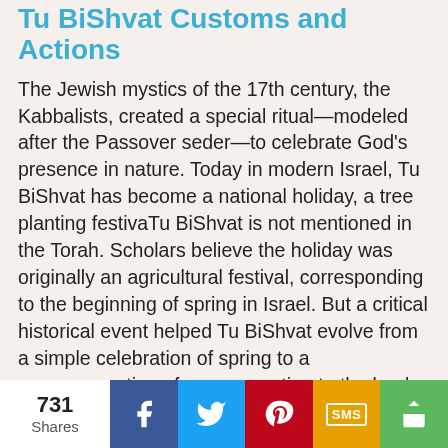Tu BiShvat Customs and Actions
The Jewish mystics of the 17th century, the Kabbalists, created a special ritual—modeled after the Passover seder—to celebrate God's presence in nature. Today in modern Israel, Tu BiShvat has become a national holiday, a tree planting festivaTu BiShvat is not mentioned in the Torah. Scholars believe the holiday was originally an agricultural festival, corresponding to the beginning of spring in Israel. But a critical historical event helped Tu BiShvat evolve from a simple celebration of spring to a commemoration of our connection to the land of Israel. After the destruction of the Second Temple in 70 C.E. and the exile that followed, many of the exiled Jews felt a need to bind themselves symbolically to their former homeland. Tu BiShvat served in part to fill that spiritual need. Jews used this time each year to eat a variety of fruits and
731 Shares  f  [twitter]  [pinterest]  SMS  [share]